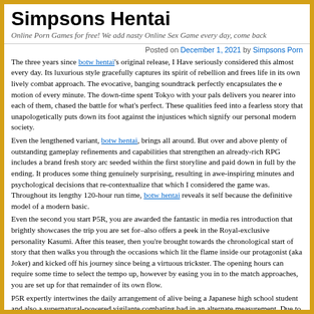Simpsons Hentai
Online Porn Games for free! We add nasty Online Sex Game every day, come back
[partial post title visible]
Posted on December 1, 2021 by Simpsons Porn
The three years since botw hentai's original release, I Have seriously considered this almost every day. Its luxurious style gracefully captures its spirit of rebellion and frees life in its own lively combat approach. The evocative, banging soundtrack perfectly encapsulates the e motion of every minute. The down-time spent Tokyo with your pals delivers you nearer into each of them, chased the battle for what's perfect. These qualities feed into a fearless story that unapologetically puts down its foot against the injustices which signify our personal modern society.
Even the lengthened variant, botw hentai, brings all around. But over and above plenty of outstanding gameplay refinements and capabilities that strengthen an already-rich RPG includes a brand fresh story arc seeded within the first storyline and paid down in full by the ending. It produces some thing genuinely surprising, resulting in awe-inspiring minutes and psychological decisions that re-contextualize that which I considered the game was. Throughout its lengthy 120-hour run time, botw hentai reveals it self because the definitive model of a modern basic.
Even the second you start P5R, you are awarded the fantastic in media res introduction that brightly showcases the trip you are set for–also offers a peek in the Royal-exclusive personality Kasumi. After this teaser, then you're brought towards the chronological start of story that then walks you through the occasions which lit the flame inside our protagonist (aka Joker) and kicked off his journey since being a virtuous trickster. The opening hours can require some time to select the tempo up, however by easing you in to the match approaches, you are set up for that remainder of its own flow.
P5R expertly intertwines the daily arrangement of alive being a Japanese high school student and also a supernatural-powered vigilante combating bad in an alternate measurement. Due to the social sim components and RPG dungeon crawling are stitched